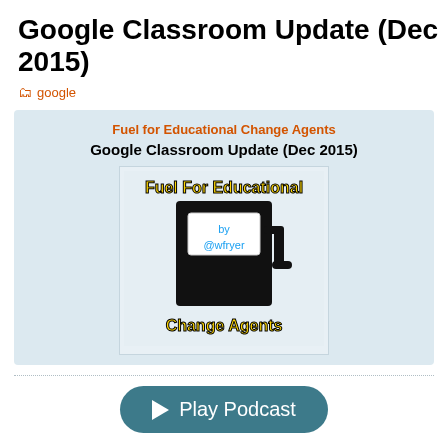Google Classroom Update (Dec 2015)
google
[Figure (other): Podcast card with orange subtitle 'Fuel for Educational Change Agents', bold title 'Google Classroom Update (Dec 2015)', and a fuel pump logo image with text 'Fuel For Educational Change Agents' and 'by @wfryer']
Play Podcast